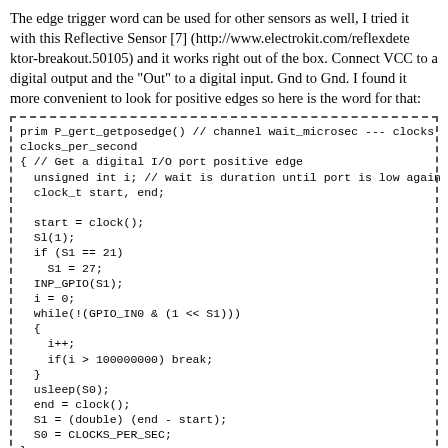The edge trigger word can be used for other sensors as well, I tried it with this Reflective Sensor [7] (http://www.electrokit.com/reflexdektor-breakout.50105) and it works right out of the box. Connect VCC to a digital output and the "Out" to a digital input. Gnd to Gnd. I found it more convenient to look for positive edges so here is the word for that:
[Figure (other): Code block with dashed border showing C code for prim P_gert_getposedge() function]
Define a word COUNT to test the setup (output on the sensor is